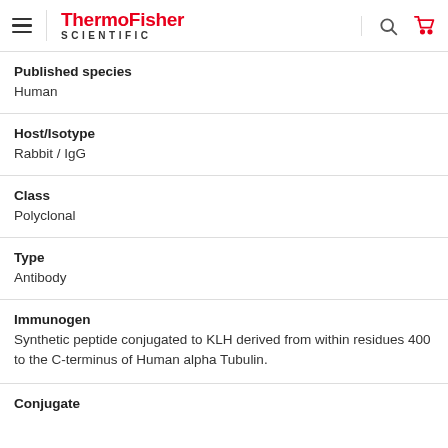ThermoFisher SCIENTIFIC
Published species
Human
Host/Isotype
Rabbit / IgG
Class
Polyclonal
Type
Antibody
Immunogen
Synthetic peptide conjugated to KLH derived from within residues 400 to the C-terminus of Human alpha Tubulin.
Conjugate